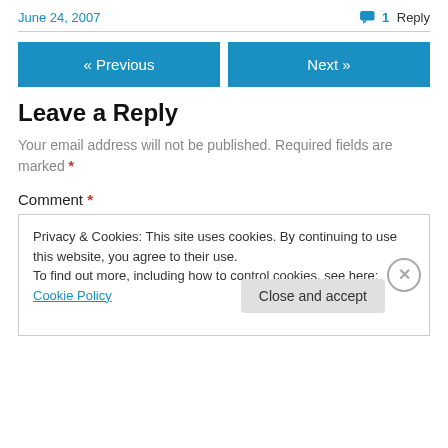June 24, 2007
1 Reply
« Previous
Next »
Leave a Reply
Your email address will not be published. Required fields are marked *
Comment *
Privacy & Cookies: This site uses cookies. By continuing to use this website, you agree to their use.
To find out more, including how to control cookies, see here: Cookie Policy
Close and accept